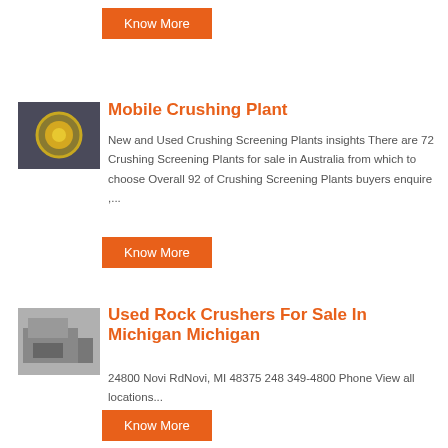Know More
[Figure (photo): Thumbnail image of a mobile crushing plant machinery component]
Mobile Crushing Plant
New and Used Crushing Screening Plants insights There are 72 Crushing Screening Plants for sale in Australia from which to choose Overall 92 of Crushing Screening Plants buyers enquire ,....
Know More
[Figure (photo): Thumbnail image of used rock crushers facility in Michigan]
Used Rock Crushers For Sale In Michigan Michigan
24800 Novi RdNovi, MI 48375 248 349-4800 Phone View all locations...
Know More